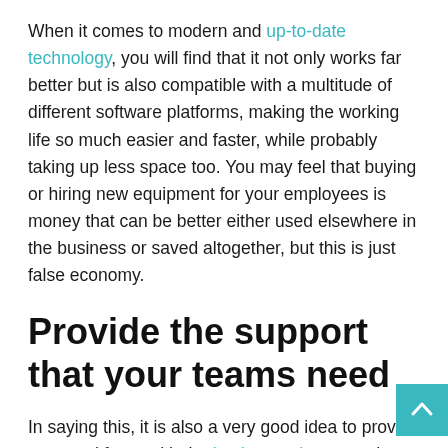When it comes to modern and up-to-date technology, you will find that it not only works far better but is also compatible with a multitude of different software platforms, making the working life so much easier and faster, while probably taking up less space too. You may feel that buying or hiring new equipment for your employees is money that can be better either used elsewhere in the business or saved altogether, but this is just false economy.
Provide the support that your teams need
In saying this, it is also a very good idea to provide your workforce with the backup and support that they will need should there be a problem or all your technology stop working.